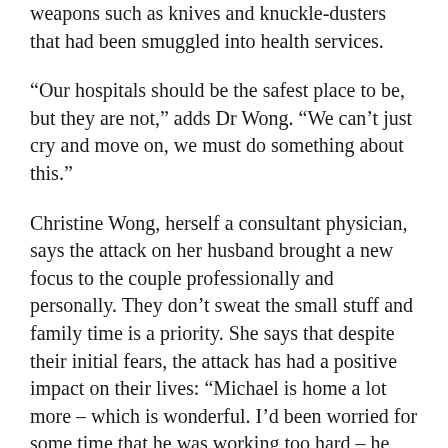weapons such as knives and knuckle-dusters that had been smuggled into health services.
“Our hospitals should be the safest place to be, but they are not,” adds Dr Wong. “We can’t just cry and move on, we must do something about this.”
Christine Wong, herself a consultant physician, says the attack on her husband brought a new focus to the couple professionally and personally. They don’t sweat the small stuff and family time is a priority. She says that despite their initial fears, the attack has had a positive impact on their lives: “Michael is home a lot more – which is wonderful. I’d been worried for some time that he was working too hard – he worked seven days a week and was on call 24/7. When the hospital rang me that morning and told me to come straight away, I thought Michael had collapsed or had a heart attack, and that wouldn’t have surprised me. This has forced him to slow down, and we now look for the